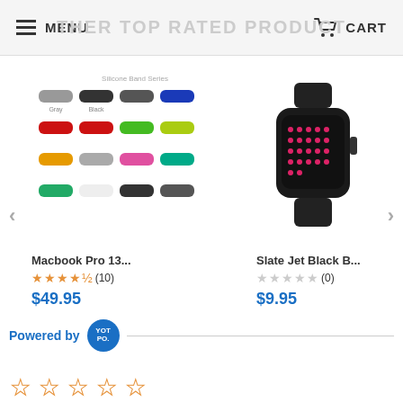MENU   OTHER TOP RATED PRODUCTS   CART
[Figure (screenshot): Product carousel showing two products: a Macbook Pro 13 accessory with colored silicone bands grid, and a Slate Jet Black B watch, with left and right navigation arrows]
Macbook Pro 13...
★★★★½ (10)
$49.95
Slate Jet Black B...
☆☆☆☆☆ (0)
$9.95
iP
☆
$·
Powered by YOTPO
[Figure (other): Five empty star rating icons in orange outline]